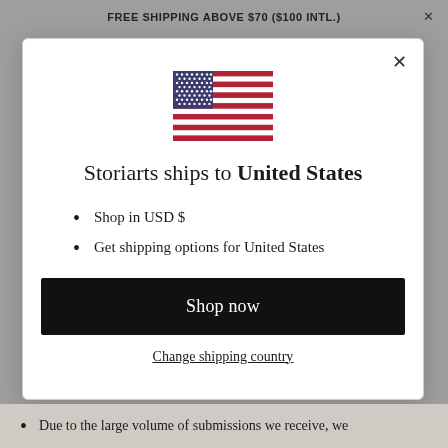FREE SHIPPING ABOVE $70 ($100 INTL.)  ×
[Figure (illustration): US flag icon]
Storiarts ships to United States
Shop in USD $
Get shipping options for United States
Shop now
Change shipping country
Due to the large volume of submissions we receive, we